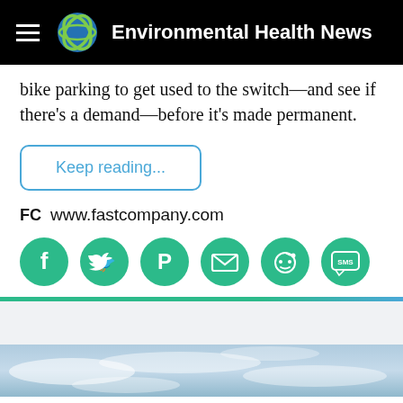Environmental Health News
bike parking to get used to the switch—and see if there's a demand—before it's made permanent.
Keep reading...
FC www.fastcompany.com
[Figure (other): Social share buttons: Facebook, Twitter, Pinterest, Email, Reddit, SMS — all green circular icons]
[Figure (photo): Sky with clouds photograph at bottom of page]